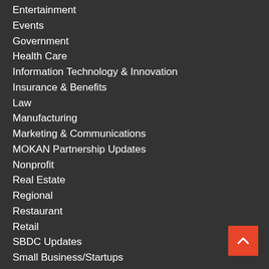Entertainment
Events
Government
Health Care
Information Technology & Innovation
Insurance & Benefits
Law
Manufacturing
Marketing & Communications
MOKAN Partnership Updates
Nonprofit
Real Estate
Regional
Restaurant
Retail
SBDC Updates
Small Business/Startups
Tourism & Hospitality
Transportation
Uncategorized
US Business
Workforce